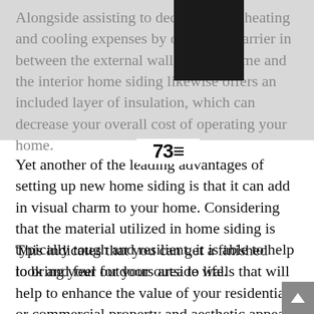Alongside assisting to decrease your heating and cooling expenses by offering a barrier in between the external wall of your home and the interior home siding likewise offers an included layer of insulation, which can decrease your overall cost of operating your home.
Yet another of the leading advantages of setting up new home siding is that it can add in visual charm to your home. Considering that the material utilized in home siding is typically tough and resilient, it is able to help to bring your outdoors area to life.
This indicates that you can get a finished look and feel for your outside walls that will help to enhance the value of your residential or commercial property and aesthetic appeal. This is especially beneficial for